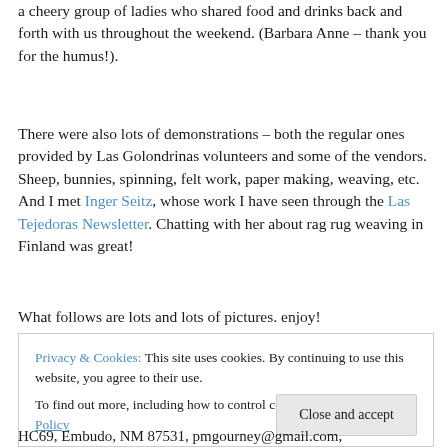a cheery group of ladies who shared food and drinks back and forth with us throughout the weekend. (Barbara Anne – thank you for the humus!).
There were also lots of demonstrations – both the regular ones provided by Las Golondrinas volunteers and some of the vendors. Sheep, bunnies, spinning, felt work, paper making, weaving, etc. And I met Inger Seitz, whose work I have seen through the Las Tejedoras Newsletter. Chatting with her about rag rug weaving in Finland was great!
What follows are lots and lots of pictures. enjoy!
Privacy & Cookies: This site uses cookies. By continuing to use this website, you agree to their use.
To find out more, including how to control cookies, see here: Cookie Policy
HC69, Embudo, NM 87531, pmgourney@gmail.com,